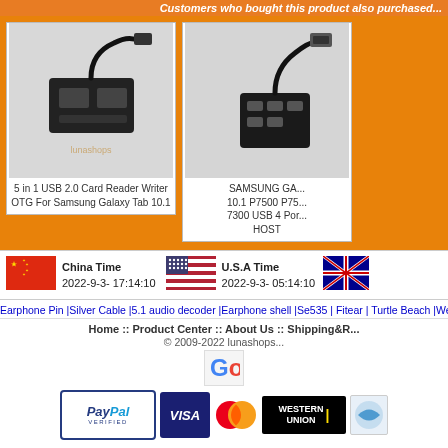Customers who bought this product also purchased...
[Figure (photo): 5 in 1 USB 2.0 Card Reader Writer OTG For Samsung Galaxy Tab 10.1 product image]
5 in 1 USB 2.0 Card Reader Writer OTG For Samsung Galaxy Tab 10.1
[Figure (photo): SAMSUNG GALAXY Tab 10.1 P7500 P7510 7300 USB 4 Port HOST product image]
SAMSUNG GA... 10.1 P7500 P75... 7300 USB 4 Por... HOST
[Figure (photo): China flag]
China Time
2022-9-3- 17:14:10
[Figure (photo): USA flag]
U.S.A Time
2022-9-3- 05:14:10
[Figure (photo): Australia flag]
Earphone Pin |Silver Cable |5.1 audio decoder |Earphone shell |Se535 | Fitear | Turtle Beach |Westone
Home :: Product Center :: About Us :: Shipping&R...
© 2009-2022 lunashops...
[Figure (logo): Google logo]
[Figure (logo): PayPal VERIFIED logo]
[Figure (logo): VISA logo]
[Figure (logo): MasterCard logo]
[Figure (logo): Western Union logo]
[Figure (logo): Additional payment logo]